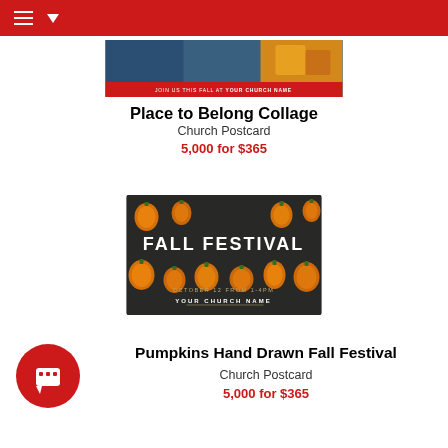Navigation bar with hamburger menu and dropdown arrow
[Figure (photo): Place to Belong Collage church postcard thumbnail showing a collage of fall images with a red banner reading JOIN US THIS FALL AT YOUR CHURCH NAME]
Place to Belong Collage
Church Postcard
5,000 for $365
[Figure (photo): Pumpkins Hand Drawn Fall Festival church postcard showing dark background with orange hand-drawn pumpkins and text FALL FESTIVAL, OCTOBER 12 FROM 1-4PM, YOUR CHURCH NAME]
[Figure (logo): Red circular chat/notification icon]
Pumpkins Hand Drawn Fall Festival
Church Postcard
5,000 for $365